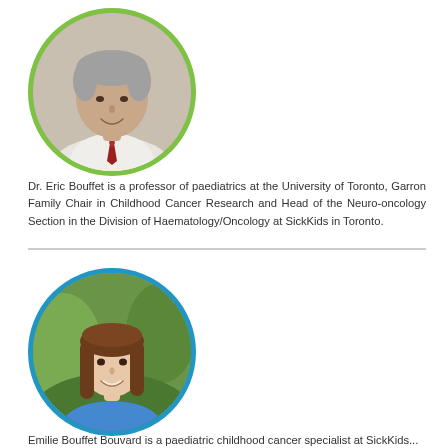[Figure (photo): Circular portrait photo of Dr. Eric Bouffet, a middle-aged man with grey hair wearing a white shirt and red tie, framed with a green/lime circular border]
Dr. Eric Bouffet is a professor of paediatrics at the University of Toronto, Garron Family Chair in Childhood Cancer Research and Head of the Neuro-oncology Section in the Division of Haematology/Oncology at SickKids in Toronto.
[Figure (photo): Circular portrait photo of a young woman with long brown hair smiling, wearing a blue top, outdoors with green foliage background, framed with a blue circular border]
Emilie Bouffet Bouvard is a paediatric childhood cancer specialist at SickKids...